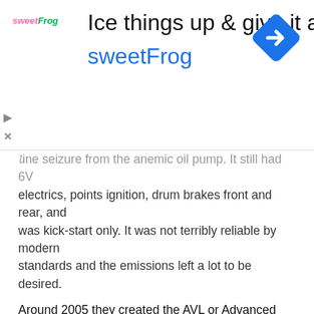[Figure (other): sweetFrog advertisement banner with logo, tagline 'Ice things up & give it a try', brand name 'sweetFrog', and a blue diamond navigation icon]
...ine seizure from the anemic oil pump. It still had 6V electrics, points ignition, drum brakes front and rear, and was kick-start only. It was not terribly reliable by modern standards and the emissions left a lot to be desired.
Around 2005 they created the AVL or Advanced Lean Burn engine. It replaced the iron cylinder with an alloy one and raised the compression from 5.5:1 to 8.5:1. Emissions were lowered and 12V electrics became standard, as did electric start.
The AVL didn't last long. It was still way too dirty to meet emissions in many international markets. In 2009 they introduced the UCE or Unit Construction Engine. While the AVL had been a makeover this was a fresh start. The new bike had electronic ignition, electronic fuel injection, hydraulic lifters, a hydraulic front disc brake, and unit construction. Previously, the engine and transmission had